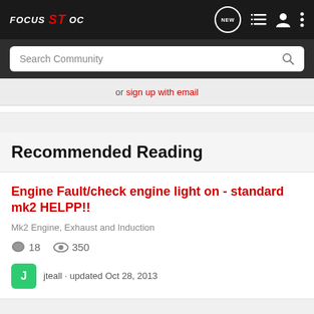FOCUS ST OC
Search Community
or sign up with email
Recommended Reading
Engine Fault/check engine light on - standard mk2 HELPP!!
Mk2 Engine, Exhaust and Induction
18   350
jteall · updated Oct 28, 2013